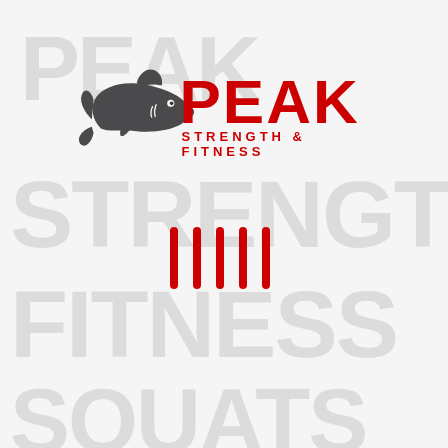[Figure (logo): Peak Strength & Fitness logo with a dark gray shark silhouette on the left and bold red text 'PEAK' in large font with 'STRENGTH & FITNESS' in smaller red text below]
[Figure (other): Five vertical red tally mark bars arranged in a row in the lower center of the page]